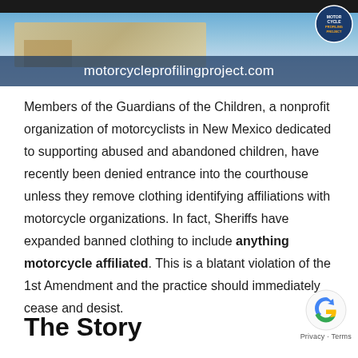[Figure (screenshot): Website banner for motorcycleprofilingproject.com showing a courthouse background image with the website URL overlaid in white text on a dark blue bar. A logo and dark top bar are also visible.]
Members of the Guardians of the Children, a nonprofit organization of motorcyclists in New Mexico dedicated to supporting abused and abandoned children, have recently been denied entrance into the courthouse unless they remove clothing identifying affiliations with motorcycle organizations. In fact, Sheriffs have expanded banned clothing to include anything motorcycle affiliated. This is a blatant violation of the 1st Amendment and the practice should immediately cease and desist.
The Story